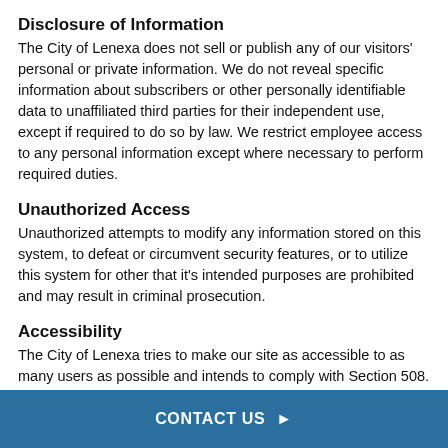Disclosure of Information
The City of Lenexa does not sell or publish any of our visitors' personal or private information. We do not reveal specific information about subscribers or other personally identifiable data to unaffiliated third parties for their independent use, except if required to do so by law. We restrict employee access to any personal information except where necessary to perform required duties.
Unauthorized Access
Unauthorized attempts to modify any information stored on this system, to defeat or circumvent security features, or to utilize this system for other that it's intended purposes are prohibited and may result in criminal prosecution.
Accessibility
The City of Lenexa tries to make our site as accessible to as many users as possible and intends to comply with Section 508.
Contact Us
If you have any questions specifically regarding your privacy on our site, please email the site administrator.
CONTACT US →